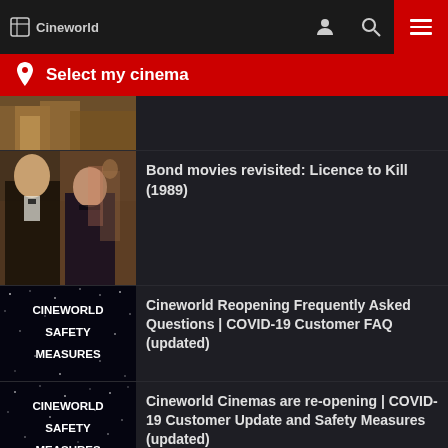Cineworld — navigation bar with logo, user icon, search icon, and menu button
Select my cinema
[Figure (photo): Partial view of a movie scene thumbnail (cropped at top)]
Bond movies revisited: Licence to Kill (1989)
Cineworld Reopening Frequently Asked Questions | COVID-19 Customer FAQ (updated)
Cineworld Cinemas are re-opening | COVID-19 Customer Update and Safety Measures (updated)